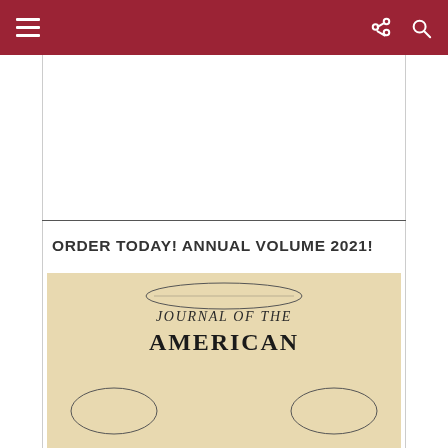Navigation bar with menu, share, and search icons
ORDER TODAY! ANNUAL VOLUME 2021!
[Figure (illustration): Journal of the American cover page with cream/parchment background, decorative oval border at top, and large serif text reading JOURNAL OF THE AMERICAN]